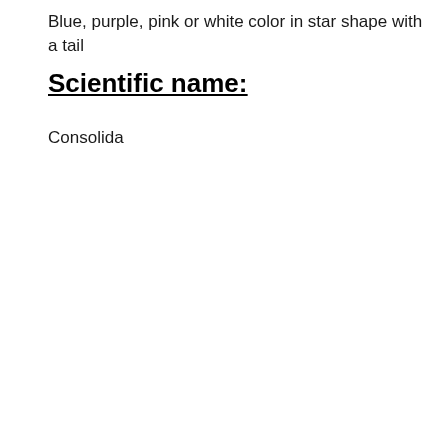Blue, purple, pink or white color in star shape with a tail
Scientific name:
Consolida